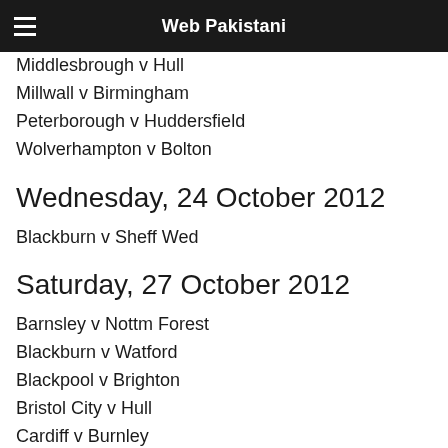Web Pakistani
Middlesbrough v Hull
Millwall v Birmingham
Peterborough v Huddersfield
Wolverhampton v Bolton
Wednesday, 24 October 2012
Blackburn v Sheff Wed
Saturday, 27 October 2012
Barnsley v Nottm Forest
Blackburn v Watford
Blackpool v Brighton
Bristol City v Hull
Cardiff v Burnley
Ipswich v Sheff Wed